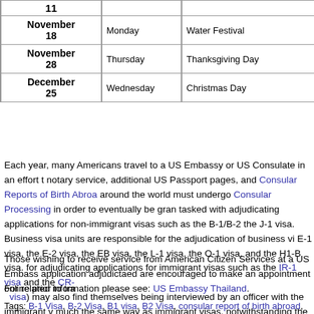| Date | Day | Holiday |
| --- | --- | --- |
| 11 |  |  |
| November 18 | Monday | Water Festival |
| November 28 | Thursday | Thanksgiving Day |
| December 25 | Wednesday | Christmas Day |
Each year, many Americans travel to a US Embassy or US Consulate in an effort to notary service, additional US Passport pages, and Consular Reports of Birth Abroad around the world must undergo Consular Processing in order to eventually be granted tasked with adjudicating applications for non-immigrant visas such as the B-1/B-2 the J-1 visa. Business visa units are responsible for the adjudication of business vi E-1 visa, the E-2 visa, the EB visa, the L-1 visa, the O-1 visa, and the H1-B visa. for adjudicating applications for immigrant visas such as the IR-1 visa and the CR-visa) may also find themselves being interviewed by an officer with the immigrant v much the same way as immigrant visas, notwithstanding the fact that K-1 visas are
Those wishing to receive service from American Citizen Services at a US Embassy application adjudictaed are encouraged to make an appointment online prior to tra
For related information please see: US Embassy Thailand.
Tags: B-1 Visa, B-2 Visa, B1 visa, B2 Visa, consular report of birth abroad, Consul Visa, E1 visa, E2 Visa, EB visa, EB-5 Visa, EB5 Visa, F-1 Visa, F1 Visa, Fiance Vi